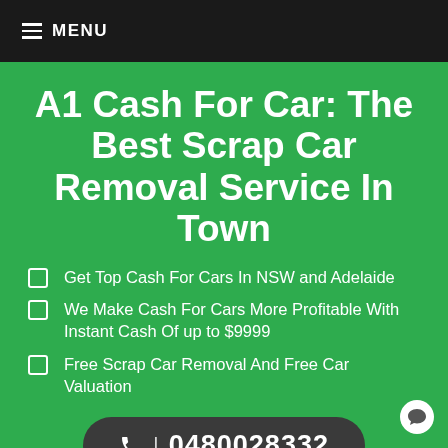≡ MENU
A1 Cash For Car: The Best Scrap Car Removal Service In Town
Get Top Cash For Cars In NSW and Adelaide
We Make Cash For Cars More Profitable With Instant Cash Of up to $9999
Free Scrap Car Removal And Free Car Valuation
☎ | 0480028332